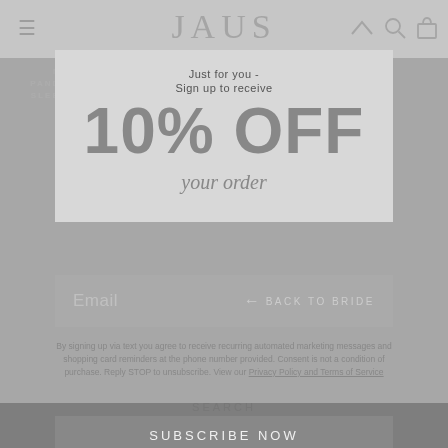[Figure (screenshot): JAUS fashion brand website screenshot showing a popup modal overlay on a product listing page. The modal offers 10% OFF on your order with an email signup field, a 'BACK TO BRIDE' button, disclaimer text, SEARCH label, and a 'SUBSCRIBE NOW' button. Background shows navigation bar with hamburger menu, JAUS logo, search/cart icons, and product listings including 'NOOKIE PANDORA LONG SLEEVE CROP - WHITE' at $209.95 and 'NOOKIE AND SKIRT - WHITE' at $95.]